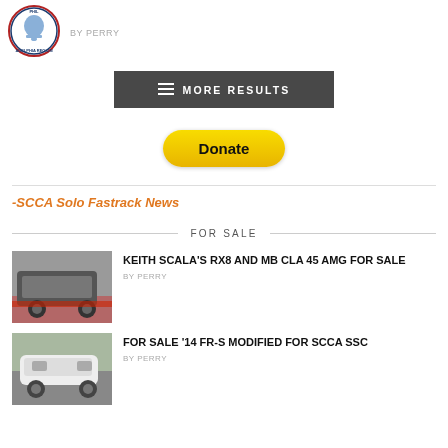[Figure (logo): Philadelphia Region SCCA circular logo with bell icon]
BY PERRY
MORE RESULTS
[Figure (other): Donate button (PayPal yellow pill-shaped button)]
-SCCA Solo Fastrack News
FOR SALE
[Figure (photo): Photo of a car (RX8 or MB CLA) in a parking area, red floor visible]
KEITH SCALA'S RX8 AND MB CLA 45 AMG FOR SALE
BY PERRY
[Figure (photo): Photo of a white car on a road or track]
FOR SALE '14 FR-S MODIFIED FOR SCCA SSC
BY PERRY